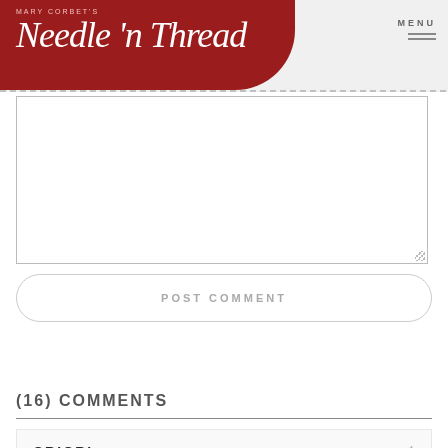Mary Corbett's Needle 'n Thread — MENU
[Figure (screenshot): Text area input field (empty), resizable]
POST COMMENT
(16) COMMENTS
CRICRI
July 30, 2012 at 10:27 am
1